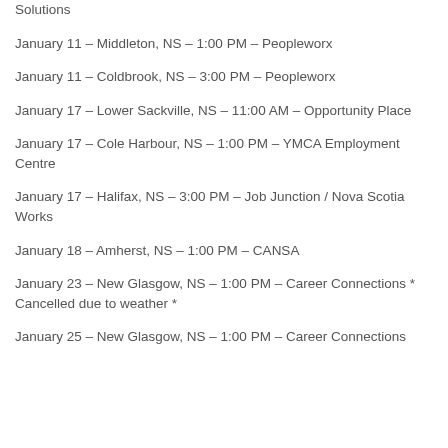Solutions
January 11 – Middleton, NS – 1:00 PM – Peopleworx
January 11 – Coldbrook, NS – 3:00 PM – Peopleworx
January 17 – Lower Sackville, NS – 11:00 AM – Opportunity Place
January 17 – Cole Harbour, NS – 1:00 PM – YMCA Employment Centre
January 17 – Halifax, NS – 3:00 PM – Job Junction / Nova Scotia Works
January 18 – Amherst, NS – 1:00 PM – CANSA
January 23 – New Glasgow, NS – 1:00 PM – Career Connections * Cancelled due to weather *
January 25 – New Glasgow, NS – 1:00 PM – Career Connections